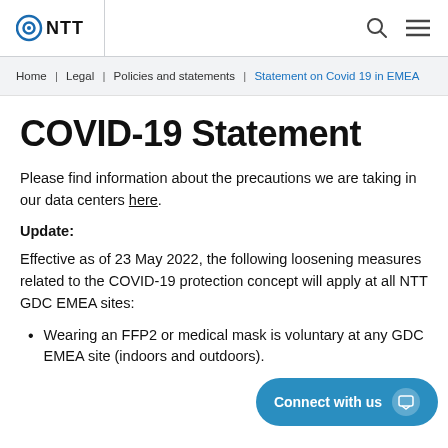NTT
Home  Legal  Policies and statements  Statement on Covid 19 in EMEA
COVID-19 Statement
Please find information about the precautions we are taking in our data centers here.
Update:
Effective as of 23 May 2022, the following loosening measures related to the COVID-19 protection concept will apply at all NTT GDC EMEA sites:
Wearing an FFP2 or medical mask is voluntary at any GDC EMEA site (indoors and outdoors).